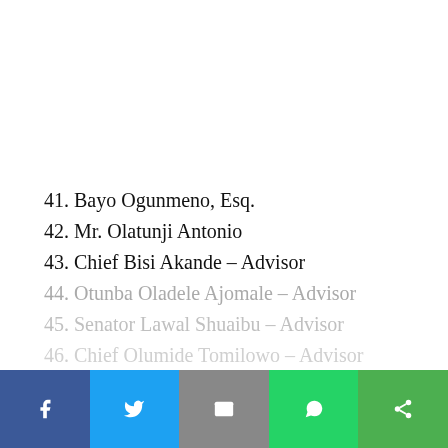41. Bayo Ogunmeno, Esq.
42. Mr. Olatunji Antonio
43. Chief Bisi Akande – Advisor
44. Otunba Oladele Ajomale – Advisor
45. Senator Lawal Shuaibu – Advisor
46. Chief Olumide Tomilowo – Advisor
CONTINUE READING
Social share bar: Facebook, Twitter, Email, WhatsApp, Share